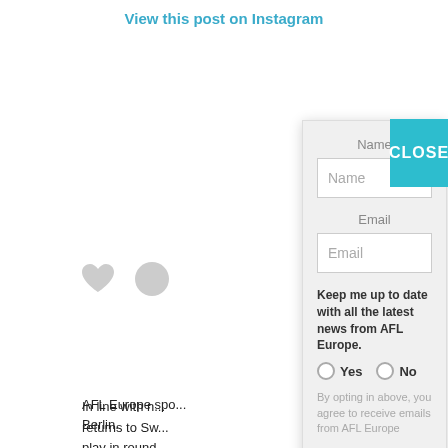View this post on Instagram
[Figure (screenshot): Instagram post screenshot with heart icons and partial text: 'In line with n... returns to Sw... play in round... have so man... @portmalmor... #eksjöbulldog...' and 'A post shared']
AFL Europe spo...
Berlin.
Name
Name
Email
Email
Keep me up to date with all the latest news from AFL Europe.
Yes
No
By opting in above, you agree to receive emails from AFL Europe
Subscribe
CLOSE